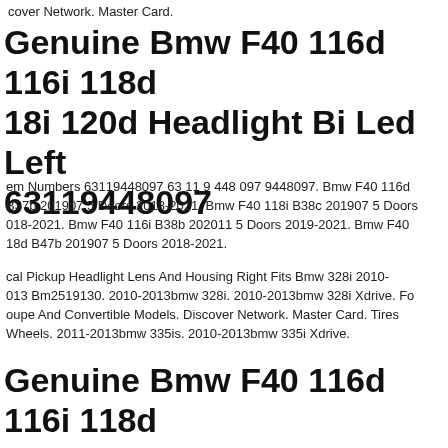cover Network. Master Card.
Genuine Bmw F40 116d 116i 118d 18i 120d Headlight Bi Led Left 63119448097
em Numbers 63119448097 63 11 9 448 097 9448097. Bmw F40 116d B37b 201907 5 Doors 2018-2021. Bmw F40 118i B38c 201907 5 Doors 018-2021. Bmw F40 116i B38b 202011 5 Doors 2019-2021. Bmw F40 18d B47b 201907 5 Doors 2018-2021.
cal Pickup Headlight Lens And Housing Right Fits Bmw 328i 2010-013 Bm2519130. 2010-2013bmw 328i. 2010-2013bmw 328i Xdrive. Fo oupe And Convertible Models. Discover Network. Master Card. Tires Wheels. 2011-2013bmw 335is. 2010-2013bmw 335i Xdrive.
Genuine Bmw F40 116d 116i 118d 18i Headlight Bi Led Adaptive...